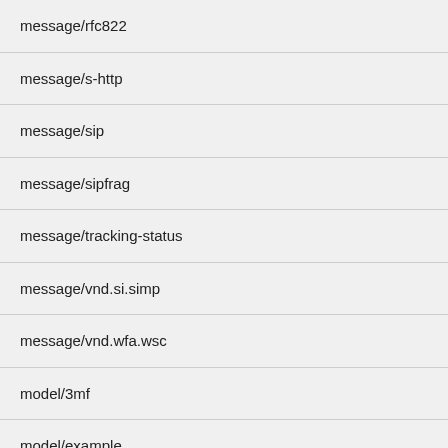| message/rfc822 |
| message/s-http |
| message/sip |
| message/sipfrag |
| message/tracking-status |
| message/vnd.si.simp |
| message/vnd.wfa.wsc |
| model/3mf |
| model/example |